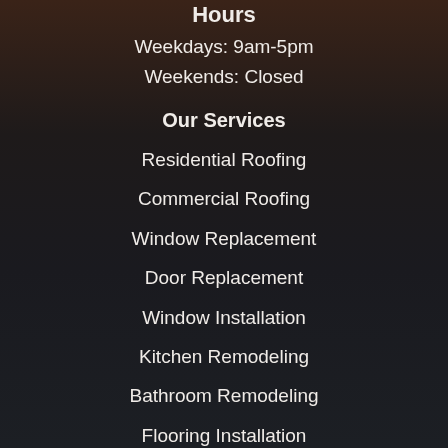Hours
Weekdays: 9am-5pm
Weekends: Closed
Our Services
Residential Roofing
Commercial Roofing
Window Replacement
Door Replacement
Window Installation
Kitchen Remodeling
Bathroom Remodeling
Flooring Installation
Custom Carpentry
Explore